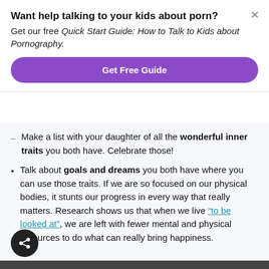Want help talking to your kids about porn?
Get our free Quick Start Guide: How to Talk to Kids about Pornography.
Get Free Guide
Make a list with your daughter of all the wonderful inner traits you both have. Celebrate those!
Talk about goals and dreams you both have where you can use those traits. If we are so focused on our physical bodies, it stunts our progress in every way that really matters. Research shows us that when we live “to be looked at”, we are left with fewer mental and physical resources to do what can really bring happiness.